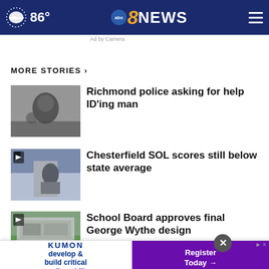86° abc8NEWS
Ad by Camera
MORE STORIES ›
[Figure (photo): Black and white photo of a man's face]
Richmond police asking for help ID'ing man
[Figure (photo): Man at podium with cameras, video thumbnail icon]
Chesterfield SOL scores still below state average
[Figure (photo): School building exterior, video thumbnail icon]
School Board approves final George Wythe design
[Figure (photo): Arrest scene, purple tones with ARREST label]
Man reportedly threatened to blow up' Roanoke
[Figure (photo): Partially visible photo]
...in New Jersey
[Figure (infographic): Kumon advertisement banner: develop & build critical reading skills, Register Today →]